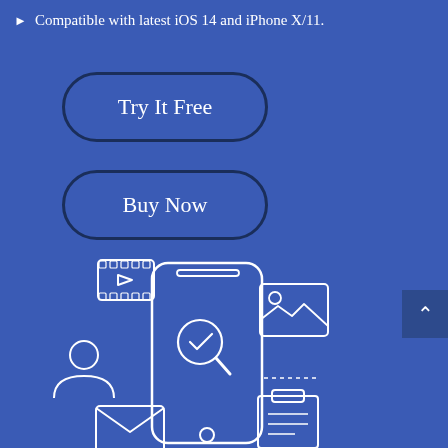Compatible with latest iOS 14 and iPhone X/11.
[Figure (illustration): Button labeled 'Try It Free' with rounded rectangle border outline on blue background]
[Figure (illustration): Button labeled 'Buy Now' with rounded rectangle border outline on blue background]
[Figure (infographic): Illustration of a smartphone with a search/inspect icon on screen, surrounded by icons: video player (top-left), image/photo (top-right), contact/person (left), email/envelope (bottom-left), clipboard/list (bottom-right), and dotted line element. White line art icons on blue background.]